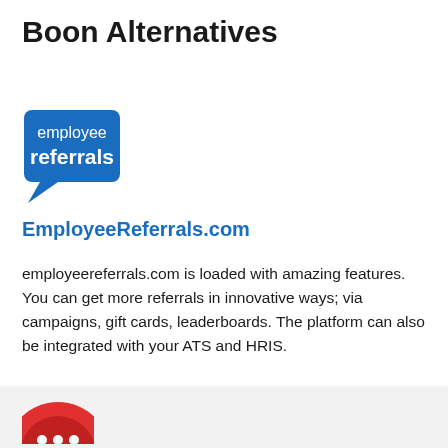Boon Alternatives
[Figure (logo): EmployeeReferrals.com logo — blue speech bubble shape with white text reading 'employee referrals']
EmployeeReferrals.com
employeereferrals.com is loaded with amazing features. You can get more referrals in innovative ways; via campaigns, gift cards, leaderboards. The platform can also be integrated with your ATS and HRIS.
VISIT WEBSITE
[Figure (logo): Partial red circular logo visible at bottom of page]